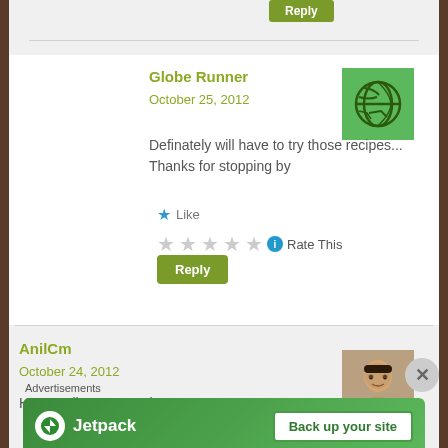Reply
Globe Runner
October 25, 2012
Definately will have to try those recipes... Thanks for stopping by
Like
Rate This
Reply
AnilCm
October 24, 2012
Happy Vijaya Dasami !
Advertisements
[Figure (logo): Jetpack advertisement banner with logo and Back up your site button]